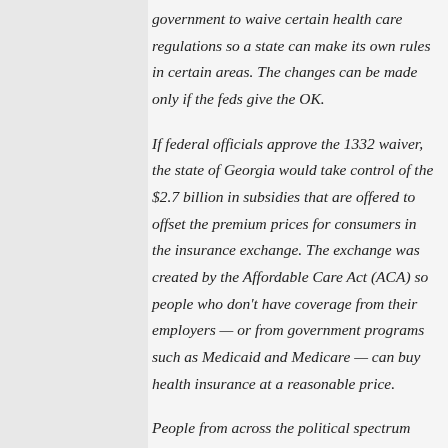government to waive certain health care regulations so a state can make its own rules in certain areas. The changes can be made only if the feds give the OK.
If federal officials approve the 1332 waiver, the state of Georgia would take control of the $2.7 billion in subsidies that are offered to offset the premium prices for consumers in the insurance exchange. The exchange was created by the Affordable Care Act (ACA) so people who don't have coverage from their employers — or from government programs such as Medicaid and Medicare — can buy health insurance at a reasonable price.
People from across the political spectrum agree "that insurance premiums are too dang high," Kemp said, adding that health care for many Georgians "is the largest and most unpredictable expense in the family